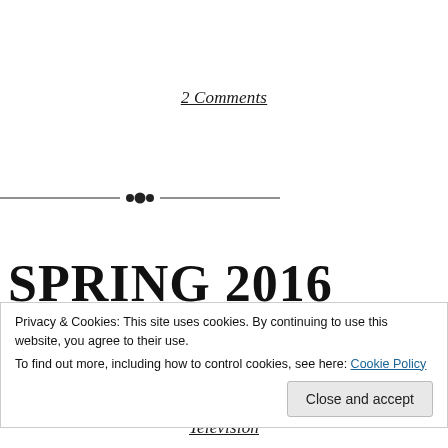2 Comments
[Figure (illustration): Decorative horizontal divider with ornamental dots in the center flanked by thin lines]
SPRING 2016 ANIME IN
Privacy & Cookies: This site uses cookies. By continuing to use this website, you agree to their use.
To find out more, including how to control cookies, see here: Cookie Policy
Close and accept
Television